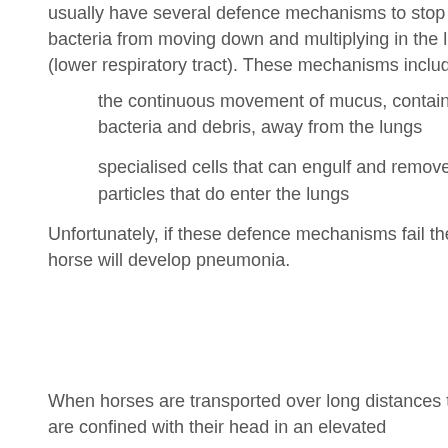usually have several defence mechanisms to stop bacteria from moving down and multiplying in the lungs (lower respiratory tract). These mechanisms include:
the continuous movement of mucus, containing bacteria and debris, away from the lungs
specialised cells that can engulf and remove any particles that do enter the lungs
Unfortunately, if these defence mechanisms fail the horse will develop pneumonia.
When horses are transported over long distances they are confined with their head in an elevated